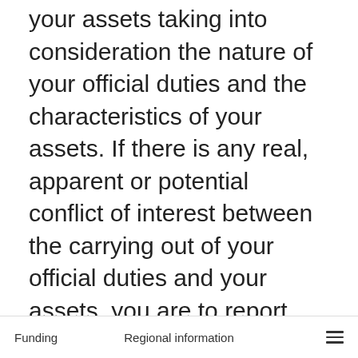your assets taking into consideration the nature of your official duties and the characteristics of your assets. If there is any real, apparent or potential conflict of interest between the carrying out of your official duties and your assets, you are to report this matter to your deputy head delegate in a timely manner by submitting a confidential report as described above.
Where your deputy head delegate determines that any assets constitute a real, apparent or potential conflict of interest in
Funding   Regional information